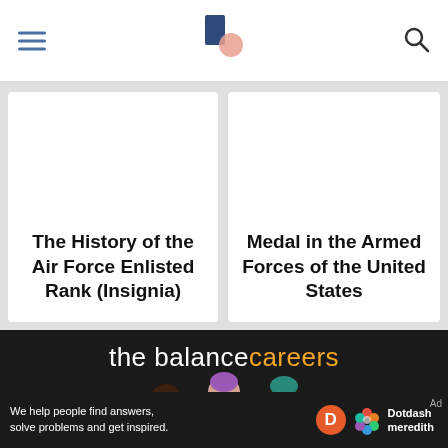Navigation bar with hamburger menu, The Balance Careers logo, and search icon
The History of the Air Force Enlisted Rank (Insignia)
Medal in the Armed Forces of the United States
[Figure (illustration): The Balance Careers logo and illustration of three women figures on dark background, followed by FOLLOW US text]
We help people find answers, solve problems and get inspired. Dotdash meredith